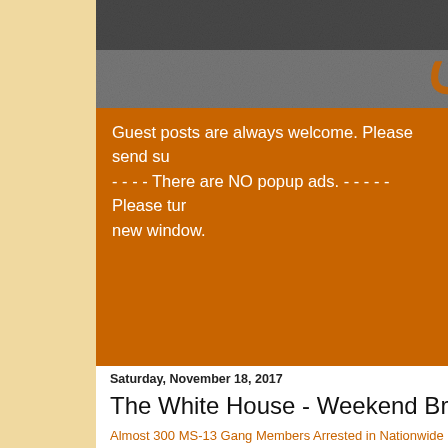[Figure (photo): Dark grainy textured background image at top of page, partially visible]
Guest posts are always welcome. Please send su - - - - There are NO popup ads. - - - - - Please tur new window.
Saturday, November 18, 2017
The White House - Weekend Briefing
Almost 300 MS-13 Gang Members Arrested in Nationwide Bust
- The Washington Free Beacon
Under the leadership of President Trump, the Department of Ju Raging Bull" led to the arrest of nearly 300 members and assoc transnational gang MS-13, making the country safer by taking t for good.
----------------------------
On Tax Reform, This Communications Giant Puts $1B Where It
- The Daily Signal
Last week AT&T announced it "has committed to investing $1 b Congress cuts corporate taxes." With these tax cuts—combine